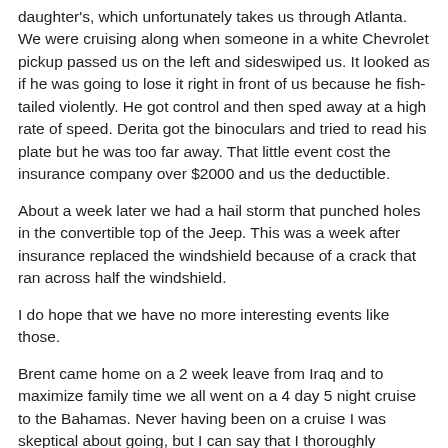daughter's, which unfortunately takes us through Atlanta. We were cruising along when someone in a white Chevrolet pickup passed us on the left and sideswiped us. It looked as if he was going to lose it right in front of us because he fish-tailed violently. He got control and then sped away at a high rate of speed. Derita got the binoculars and tried to read his plate but he was too far away. That little event cost the insurance company over $2000 and us the deductible.
About a week later we had a hail storm that punched holes in the convertible top of the Jeep. This was a week after insurance replaced the windshield because of a crack that ran across half the windshield.
I do hope that we have no more interesting events like those.
Brent came home on a 2 week leave from Iraq and to maximize family time we all went on a 4 day 5 night cruise to the Bahamas. Never having been on a cruise I was skeptical about going, but I can say that I thoroughly enjoyed it and would not hesitate to go on another one. Actually, I think this one will pave the way for an Alaskan cruise that Derita has